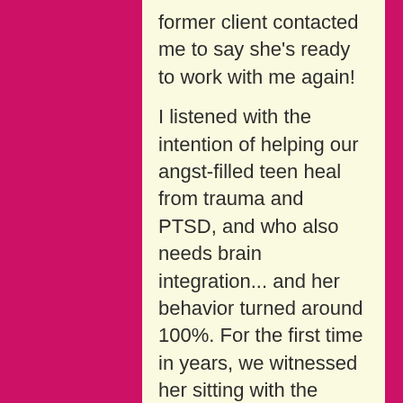former client contacted me to say she's ready to work with me again!

I listened with the intention of helping our angst-filled teen heal from trauma and PTSD, and who also needs brain integration... and her behavior turned around 100%. For the first time in years, we witnessed her sitting with the family joyfully, contributing to the conversation, eating a